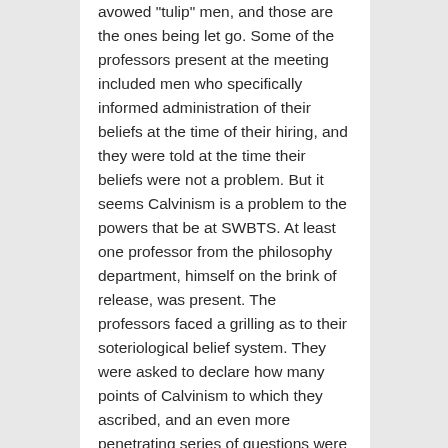avowed "tulip" men, and those are the ones being let go. Some of the professors present at the meeting included men who specifically informed administration of their beliefs at the time of their hiring, and they were told at the time their beliefs were not a problem. But it seems Calvinism is a problem to the powers that be at SWBTS. At least one professor from the philosophy department, himself on the brink of release, was present. The professors faced a grilling as to their soteriological belief system. They were asked to declare how many points of Calvinism to which they ascribed, and an even more penetrating series of questions were posed to